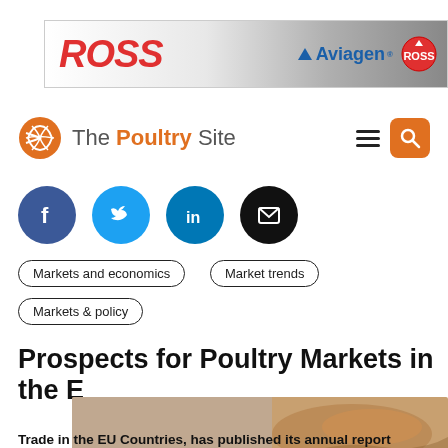[Figure (logo): ROSS / Aviagen advertisement banner]
[Figure (logo): The Poultry Site navigation bar with logo, hamburger menu, and search button]
[Figure (infographic): Social media share icons: Facebook, Twitter, LinkedIn, Email]
Markets and economics
Market trends
Markets & policy
Prospects for Poultry Markets in the E
[Figure (photo): Grilled chicken / poultry dish photograph with Cobb advertisement overlay]
Trade in the EU Countries, has published its annual report